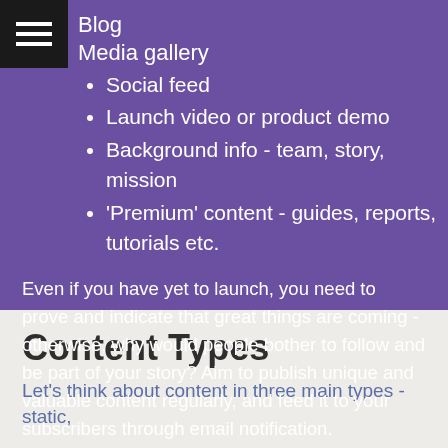Blog
Media gallery
Social feed
Launch video or product demo
Background info - team, story, mission
'Premium' content - guides, reports, tutorials etc.
Even if you have yet to launch, you need to prove and indicate that great things are coming - otherwise, why would people bother to follow and be part of your story? Aim to publish unique and valuable content regularly, and feed it to your subscribers through email notification.
Content Types
Let's think about content in three main types - static,